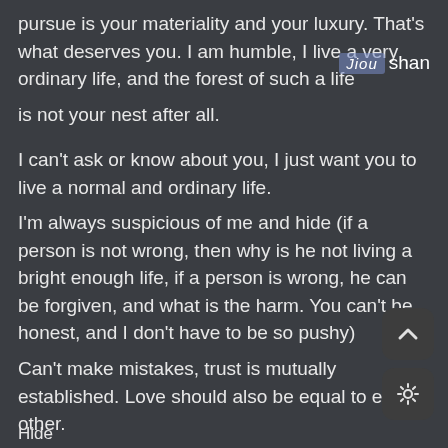pursue is your materiality and your luxury. That's what deserves you. I am humble, I live a very ordinary life, and the forest of such a life
is not your nest after all.
I can't ask or know about you, I just want you to live a normal and ordinary life.
I'm always suspicious of me and hide (if a person is not wrong, then why is he not living a bright enough life, if a person is wrong, he can be forgiven, and what is the harm. You can't be honest, and I don't have to be so pushy)
Can't make mistakes, trust is mutually established. Love should also be equal to each other.
For me, love and loving someone are two different things that matter. (I didn't squander my time because of my age,
Hide